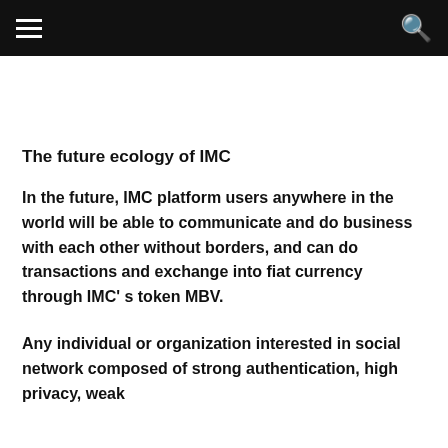The future ecology of IMC
In the future, IMC platform users anywhere in the world will be able to communicate and do business with each other without borders, and can do transactions and exchange into fiat currency through IMC’ s token MBV.
Any individual or organization interested in social network composed of strong authentication, high privacy, weak